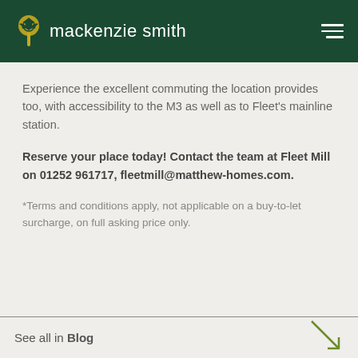mackenzie smith
Experience the excellent commuting the location provides too, with accessibility to the M3 as well as to Fleet's mainline station.
Reserve your place today! Contact the team at Fleet Mill on 01252 961717, fleetmill@matthew-homes.com.
*Terms and conditions apply, not applicable on a buy-to-let surcharge, on full asking price only.
See all in Blog